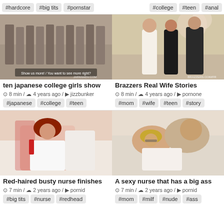#hardcore #big tits #pornstar
#college #teen #anal
[Figure (photo): Video thumbnail: ten japanese college girls show]
ten japanese college girls show
8 min / 4 years ago / jizzbunker
#japanese #college #teen
[Figure (photo): Video thumbnail: Brazzers Real Wife Stories]
Brazzers Real Wife Stories
8 min / 4 years ago / pornone
#mom #wife #teen #story
[Figure (photo): Video thumbnail: Red-haired busty nurse finishes]
Red-haired busty nurse finishes
7 min / 2 years ago / pornid
#big tits #nurse #redhead
[Figure (photo): Video thumbnail: A sexy nurse that has a big ass]
A sexy nurse that has a big ass
7 min / 2 years ago / pornid
#mom #milf #nude #ass